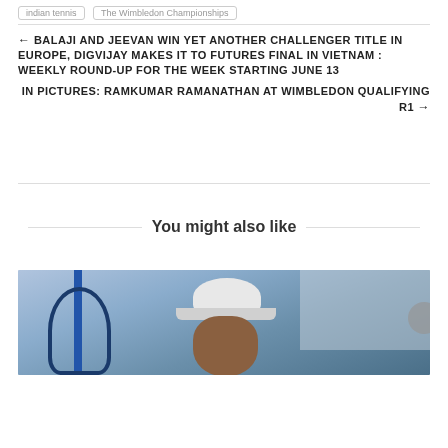Indian Tennis | The Wimbledon Championships
← BALAJI AND JEEVAN WIN YET ANOTHER CHALLENGER TITLE IN EUROPE, DIGVIJAY MAKES IT TO FUTURES FINAL IN VIETNAM : WEEKLY ROUND-UP FOR THE WEEK STARTING JUNE 13
IN PICTURES: RAMKUMAR RAMANATHAN AT WIMBLEDON QUALIFYING R1 →
You might also like
[Figure (photo): Photo of a tennis player wearing a white cap and holding a blue tennis racket, with a blue pole and building in the background]